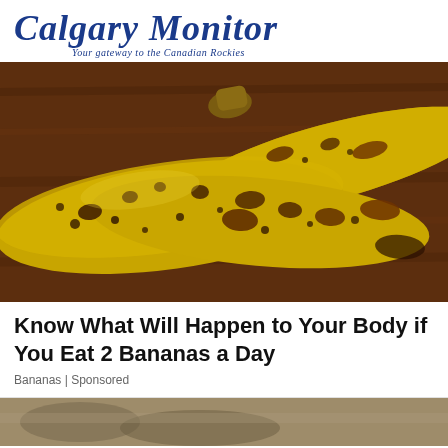Calgary Monitor
Your gateway to the Canadian Rockies
[Figure (photo): Three overripe bananas with dark brown spots lying on a dark wooden surface]
Know What Will Happen to Your Body if You Eat 2 Bananas a Day
Bananas | Sponsored
[Figure (photo): Partial view of another image at the bottom of the page, appears to show an animal]